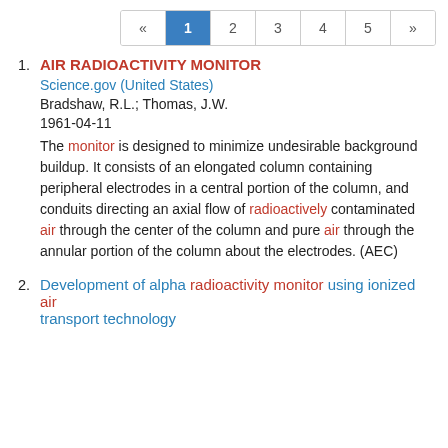« 1 2 3 4 5 »
1. AIR RADIOACTIVITY MONITOR
Science.gov (United States)
Bradshaw, R.L.; Thomas, J.W.
1961-04-11
The monitor is designed to minimize undesirable background buildup. It consists of an elongated column containing peripheral electrodes in a central portion of the column, and conduits directing an axial flow of radioactively contaminated air through the center of the column and pure air through the annular portion of the column about the electrodes. (AEC)
2. Development of alpha radioactivity monitor using ionized air transport technology